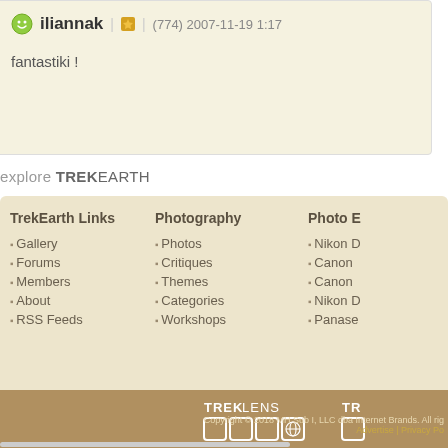iliannak | ★ | (774) 2007-11-19 1:17
fantastiki !
explore TREKEARTH
TrekEarth Links
Gallery
Forums
Members
About
RSS Feeds
Photography
Photos
Critiques
Themes
Categories
Workshops
Photo E
Nikon D
Canon
Canon
Nikon D
Panase
[Figure (logo): TREKLENS logo with boxes and globe icon]
[Figure (logo): TR logo with box (partially visible)]
Copyright © 2018 MH Sub I, LLC dba Internet Brands. All righ...  Advertise | Privacy Po...